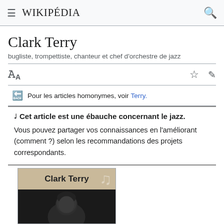WIKIPÉDIA
Clark Terry
bugliste, trompettiste, chanteur et chef d'orchestre de jazz
Pour les articles homonymes, voir Terry.
Cet article est une ébauche concernant le jazz.
Vous pouvez partager vos connaissances en l'améliorant (comment ?) selon les recommandations des projets correspondants.
[Figure (other): Infobox header with 'Clark Terry' title and musical note decoration on beige background, with a black-and-white photo of Clark Terry below]